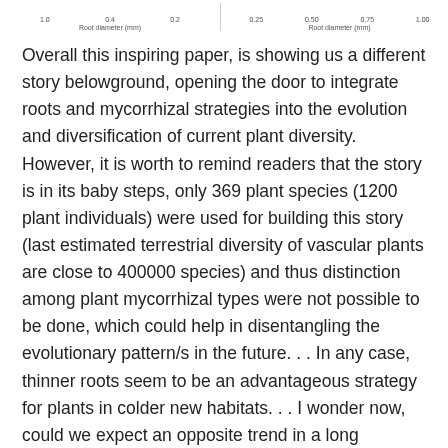[Figure (continuous-plot): Top portion of two root diameter plots (axes/labels only visible), left plot x-axis showing values 1.0, 0.4, 0.2 with label 'Root diameter (mm)', right plot x-axis showing values 0.25, 0.50, 0.75, 1.00 with label 'Root diameter (mm)']
Overall this inspiring paper, is showing us a different story belowground, opening the door to integrate roots and mycorrhizal strategies into the evolution and diversification of current plant diversity. However, it is worth to remind readers that the story is in its baby steps, only 369 plant species (1200 plant individuals) were used for building this story (last estimated terrestrial diversity of vascular plants are close to 400000 species) and thus distinction among plant mycorrhizal types were not possible to be done, which could help in disentangling the evolutionary pattern/s in the future. . . In any case, thinner roots seem to be an advantageous strategy for plants in colder new habitats. . . I wonder now, could we expect an opposite trend in a long warming process?